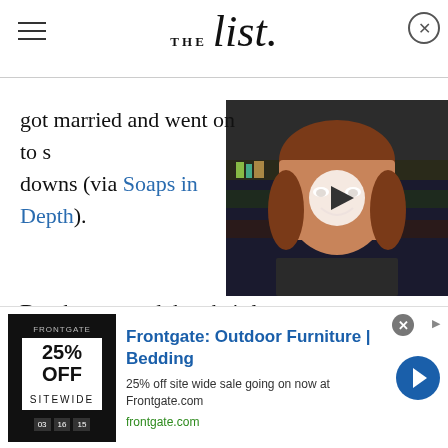THE list
[Figure (photo): Video thumbnail showing a woman with brown hair smiling, with a play button overlay, set against a dark background with bookshelves]
got married and went on to share many ups and downs (via Soaps in Depth).
But they proved that their love was real and found their way back to each other. Ciara and Ben also welcomed a child together in 2022, a little boy that they named Bo after Ciara's late father, according to Soaps.com.
[Figure (infographic): Advertisement for Frontgate: Outdoor Furniture | Bedding - 25% off site wide sale going on now at Frontgate.com. frontgate.com]